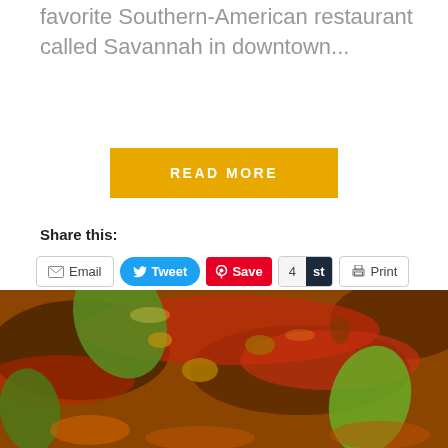favorite Southern-American restaurant called Savannah in downtown...
READ MORE
Share this:
Email  Tweet  Save  4 st  Print
Like this:
Like
Be the first to like this.
[Figure (photo): Close-up photo of Southern-American food dish with green peppers, tomato-based sauce and mixed vegetables]